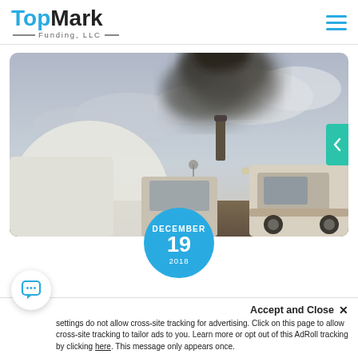[Figure (logo): TopMark Funding, LLC logo — 'Top' in blue bold, 'Mark' in black bold, 'Funding, LLC' in gray with decorative lines]
[Figure (photo): A semi truck emitting thick dark smoke from its exhaust stack against a cloudy sky, photographed from behind/side]
DECEMBER 19 2018
Accept and Close ×  settings do not allow cross-site tracking for advertising. Click on this page to allow  cross-site tracking to tailor ads to you. Learn more or opt out of this AdRoll tracking by clicking here. This message only appears once.